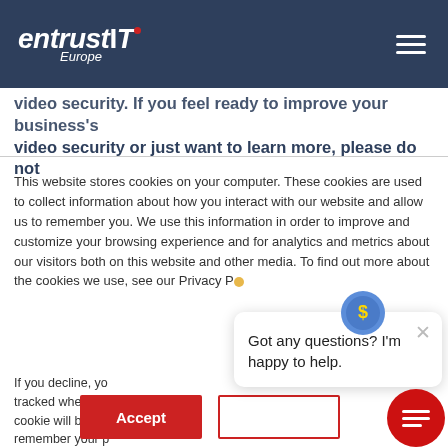entrustIT Europe
video security. If you feel ready to improve your business's video security or just want to learn more, please do not
This website stores cookies on your computer. These cookies are used to collect information about how you interact with our website and allow us to remember you. We use this information in order to improve and customize your browsing experience and for analytics and metrics about our visitors both on this website and other media. To find out more about the cookies we use, see our Privacy P...
If you decline, yo... tracked when yo... cookie will be us... remember your p... tracked.
Got any questions? I'm happy to help.
Accept